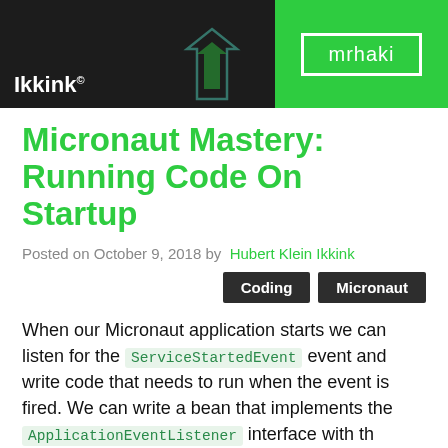[Figure (photo): Header banner split into two sections: left dark area showing author name 'Ikkink' with a small logo/arrow, right bright green section with 'mrhaki' text in a white-bordered box]
Micronaut Mastery: Running Code On Startup
Posted on October 9, 2018 by Hubert Klein Ikkink
Coding  Micronaut
When our Micronaut application starts we can listen for the ServiceStartedEvent event and write code that needs to run when the event is fired. We can write a bean that implements the ApplicationEventListener interface with th